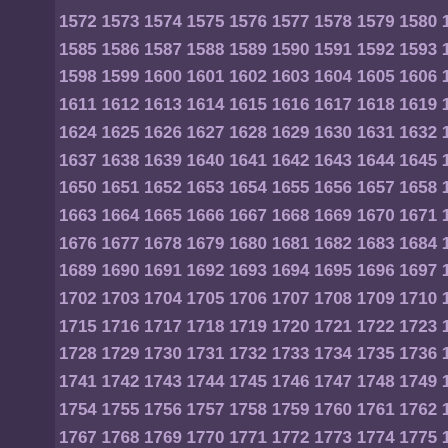1572 1573 1574 1575 1576 1577 1578 1579 1580 1581 1582 1583 1585 1586 1587 1588 1589 1590 1591 1592 1593 1594 1595 1596 1598 1599 1600 1601 1602 1603 1604 1605 1606 1607 1608 1609 1611 1612 1613 1614 1615 1616 1617 1618 1619 1620 1621 1622 1624 1625 1626 1627 1628 1629 1630 1631 1632 1633 1634 1635 1637 1638 1639 1640 1641 1642 1643 1644 1645 1646 1647 1648 1650 1651 1652 1653 1654 1655 1656 1657 1658 1659 1660 1661 1663 1664 1665 1666 1667 1668 1669 1670 1671 1672 1673 1674 1676 1677 1678 1679 1680 1681 1682 1683 1684 1685 1686 1687 1689 1690 1691 1692 1693 1694 1695 1696 1697 1698 1699 1700 1702 1703 1704 1705 1706 1707 1708 1709 1710 1711 1712 1713 1715 1716 1717 1718 1719 1720 1721 1722 1723 1724 1725 1726 1728 1729 1730 1731 1732 1733 1734 1735 1736 1737 1738 1739 1741 1742 1743 1744 1745 1746 1747 1748 1749 1750 1751 1752 1754 1755 1756 1757 1758 1759 1760 1761 1762 1763 1764 1765 1767 1768 1769 1770 1771 1772 1773 1774 1775 1776 1777 1778 1780 1781 1782 1783 1784 1785 1786 1787 1788 1789 1790 1791 1793 1794 1795 1796 1797 1798 1799 1800 1801 1802 1803 1804 1806 1807 1808 1809 1810 1811 1812 1813 1814 1815 1816 1817